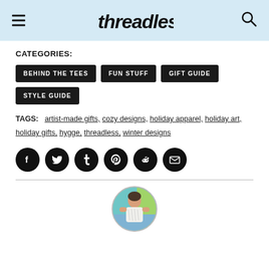threadless
CATEGORIES:
BEHIND THE TEES
FUN STUFF
GIFT GUIDE
STYLE GUIDE
TAGS: artist-made gifts, cozy designs, holiday apparel, holiday art, holiday gifts, hygge, threadless, winter designs
[Figure (infographic): Social sharing icons: Facebook, Twitter, Tumblr, Pinterest, Reddit, Email — black circles with white icons]
[Figure (photo): Circular profile photo of a woman wearing a white printed t-shirt, standing in front of colorful mural]